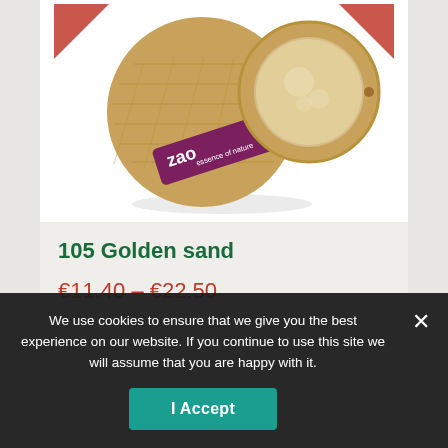[Figure (photo): ZAO essence of nature bamboo eyeshadow compact, showing the closed bamboo case (with 'zao essence of nature' label) and the open compact revealing a golden/shimmery powder pan, against a white background with red ribbon elements at top corners.]
105 Golden sand
€11.40 – €22.50
We use cookies to ensure that we give you the best experience on our website. If you continue to use this site we will assume that you are happy with it.